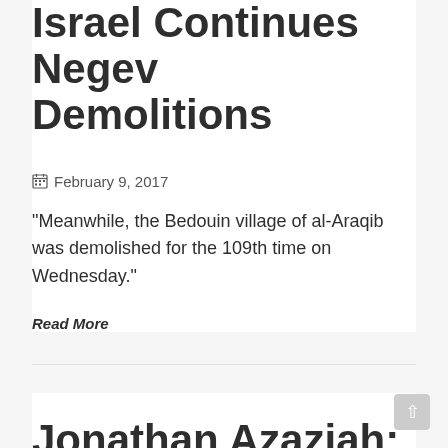Israel Continues Negev Demolitions
February 9, 2017
“Meanwhile, the Bedouin village of al-Araqib was demolished for the 109th time on Wednesday.”
Read More
Jonathan Azaziah: Turkey Opens Air...